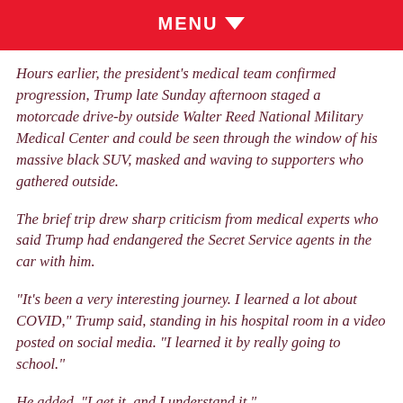MENU
Hours earlier, the president's medical team confirmed progression, Trump late Sunday afternoon staged a motorcade drive-by outside Walter Reed National Military Medical Center and could be seen through the window of his massive black SUV, masked and waving to supporters who gathered outside.
The brief trip drew sharp criticism from medical experts who said Trump had endangered the Secret Service agents in the car with him.
"It's been a very interesting journey. I learned a lot about COVID," Trump said, standing in his hospital room in a video posted on social media. "I learned it by really going to school."
He added, "I get it, and I understand it."